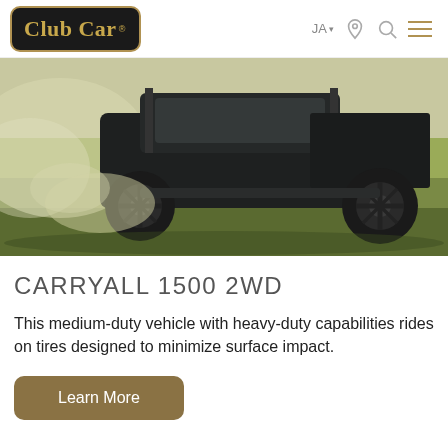Club Car  JA  [location icon] [search icon] [menu icon]
[Figure (photo): A Club Car Carryall 1500 2WD utility vehicle driving on a sandy/dirt surface, kicking up dust. The vehicle is dark/black colored with large off-road tires. Background is sandy terrain with some structure visible.]
CARRYALL 1500 2WD
This medium-duty vehicle with heavy-duty capabilities rides on tires designed to minimize surface impact.
Learn More